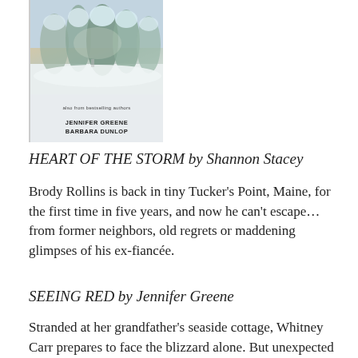[Figure (illustration): Book cover showing snow-covered trees with two authors listed: Jennifer Greene and Barbara Dunlop]
HEART OF THE STORM by Shannon Stacey
Brody Rollins is back in tiny Tucker's Point, Maine, for the first time in five years, and now he can't escape… from former neighbors, old regrets or maddening glimpses of his ex-fiancée.
SEEING RED by Jennifer Greene
Stranded at her grandfather's seaside cottage, Whitney Carr prepares to face the blizzard alone. But unexpected help soon arrives—in the form of her secret high-school